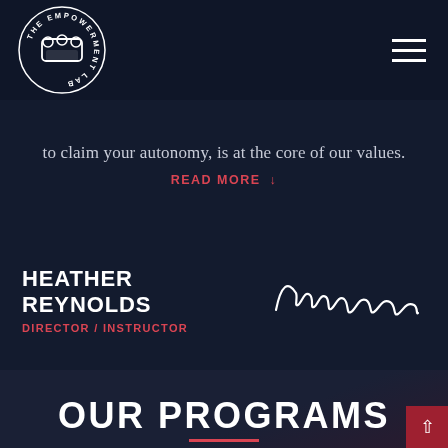[Figure (logo): The Empowerment Lab circular logo with brass knuckles graphic, white text on dark background]
to claim your autonomy, is at the core of our values.
READ MORE ↓
HEATHER REYNOLDS
DIRECTOR / INSTRUCTOR
[Figure (illustration): Cursive script signature reading 'Signature' in white on dark background]
OUR PROGRAMS